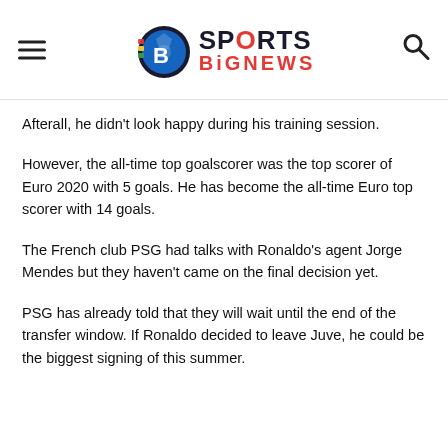Sports BigNews
Afterall, he didn't look happy during his training session.
However, the all-time top goalscorer was the top scorer of Euro 2020 with 5 goals. He has become the all-time Euro top scorer with 14 goals.
The French club PSG had talks with Ronaldo's agent Jorge Mendes but they haven't came on the final decision yet.
PSG has already told that they will wait until the end of the transfer window. If Ronaldo decided to leave Juve, he could be the biggest signing of this summer.